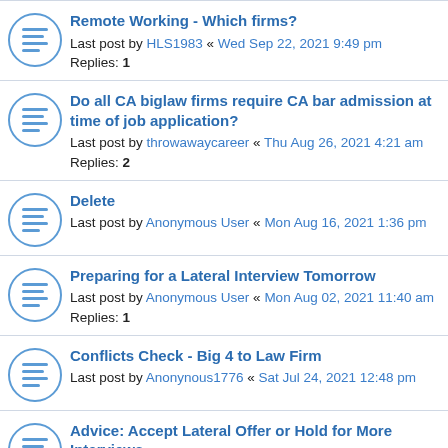Remote Working - Which firms?
Last post by HLS1983 « Wed Sep 22, 2021 9:49 pm
Replies: 1
Do all CA biglaw firms require CA bar admission at time of job application?
Last post by throwawaycareer « Thu Aug 26, 2021 4:21 am
Replies: 2
Delete
Last post by Anonymous User « Mon Aug 16, 2021 1:36 pm
Preparing for a Lateral Interview Tomorrow
Last post by Anonymous User « Mon Aug 02, 2021 11:40 am
Replies: 1
Conflicts Check - Big 4 to Law Firm
Last post by Anonynous1776 « Sat Jul 24, 2021 12:48 pm
Advice: Accept Lateral Offer or Hold for More Interviews